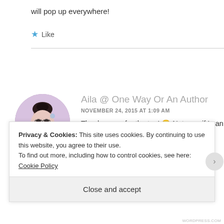will pop up everywhere!
★ Like
Aila @ One Way Or An Author
NOVEMBER 24, 2015 AT 1:09 AM
[Figure (photo): Circular avatar photo of a woman with glasses and dark hair in a bun, wearing a white outfit, reading a book]
Thank youuu for the tag! 😀 Not sure if I can make it in time for Autumn, but there's always next year
Privacy & Cookies: This site uses cookies. By continuing to use this website, you agree to their use.
To find out more, including how to control cookies, see here: Cookie Policy
Close and accept